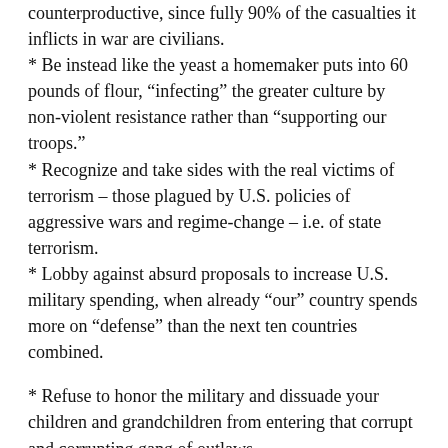counterproductive, since fully 90% of the casualties it inflicts in war are civilians.
* Be instead like the yeast a homemaker puts into 60 pounds of flour, “infecting” the greater culture by non-violent resistance rather than “supporting our troops.”
* Recognize and take sides with the real victims of terrorism – those plagued by U.S. policies of aggressive wars and regime-change – i.e. of state terrorism.
* Lobby against absurd proposals to increase U.S. military spending, when already “our” country spends more on “defense” than the next ten countries combined.
* Refuse to honor the military and dissuade your children and grandchildren from entering that corrupt and corrupting gang of outlaws.